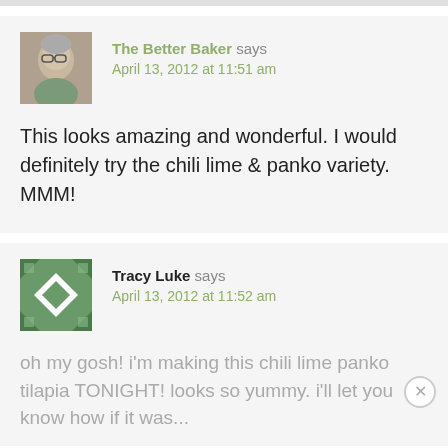The Better Baker says
April 13, 2012 at 11:51 am
This looks amazing and wonderful. I would definitely try the chili lime & panko variety. MMM!
Tracy Luke says
April 13, 2012 at 11:52 am
oh my gosh! i'm making this chili lime panko tilapia TONIGHT! looks so yummy. i'll let you know how it was...